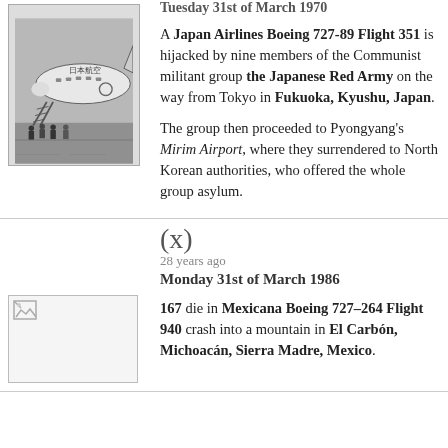Tuesday 31st of March 1970
[Figure (photo): Black and white photo of a Japan Airlines airplane with stairs extended and people on the tarmac]
A Japan Airlines Boeing 727-89 Flight 351 is hijacked by nine members of the Communist militant group the Japanese Red Army on the way from Tokyo in Fukuoka, Kyushu, Japan.

The group then proceeded to Pyongyang's Mirim Airport, where they surrendered to North Korean authorities, who offered the whole group asylum.
Monday 31st of March 1986
28 years ago
[Figure (photo): Broken/missing image placeholder]
167 die in Mexicana Boeing 727–264 Flight 940 crash into a mountain in El Carbón, Michoacán, Sierra Madre, Mexico.